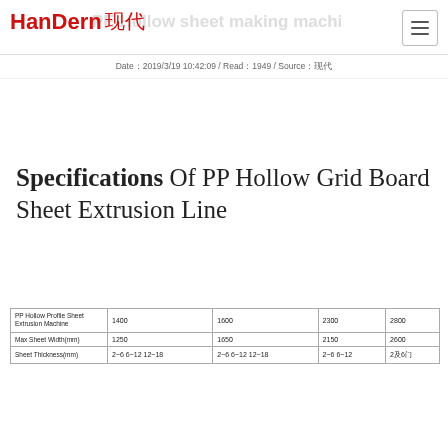HanDern 現代
Date：2019/3/19 10:42:09 / Read：1949 / Source：现代
Specifications Of PP Hollow Grid Board Sheet Extrusion Line
| PP Hollow Profile Sheet Extrusion Machine | 1400 | 1600 | 2300 | 2800 |
| --- | --- | --- | --- | --- |
| Max Sheet Width(mm) | 1250 | 1650 | 2150 | 2600 |
| Sheet Thickness(mm) | 2~6 6~12 12~18 | 2~6 6~12 12~18 | 2~6 6~12 | 2及6门 |